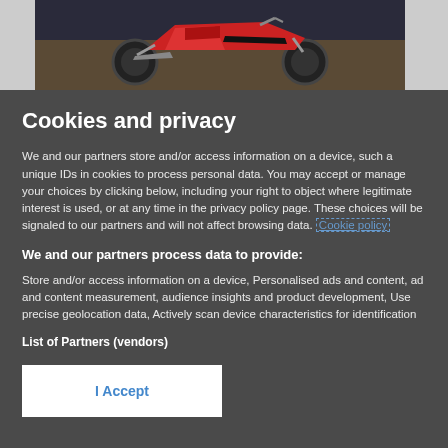[Figure (photo): Partial view of a red motorcycle against a dark background, with grey side panels on left and right]
Cookies and privacy
We and our partners store and/or access information on a device, such a unique IDs in cookies to process personal data. You may accept or manage your choices by clicking below, including your right to object where legitimate interest is used, or at any time in the privacy policy page. These choices will be signaled to our partners and will not affect browsing data. Cookie policy
We and our partners process data to provide:
Store and/or access information on a device, Personalised ads and content, ad and content measurement, audience insights and product development, Use precise geolocation data, Actively scan device characteristics for identification
List of Partners (vendors)
I Accept